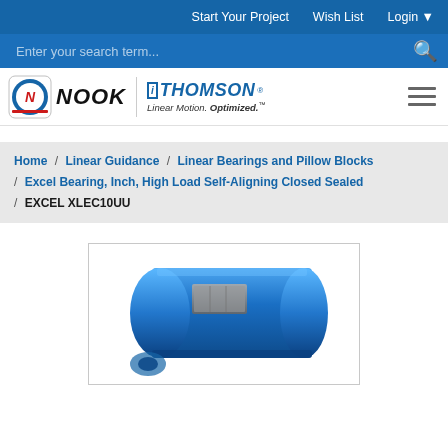Start Your Project  Wish List  Login
Enter your search term...
[Figure (logo): Nook Industries and Thomson Linear Motion Optimized combined logo with hamburger menu icon]
Home / Linear Guidance / Linear Bearings and Pillow Blocks / Excel Bearing, Inch, High Load Self-Aligning Closed Sealed / EXCEL XLEC10UU
[Figure (photo): Blue cylindrical linear bearing EXCEL XLEC10UU with grey seal band, product photo on white background]